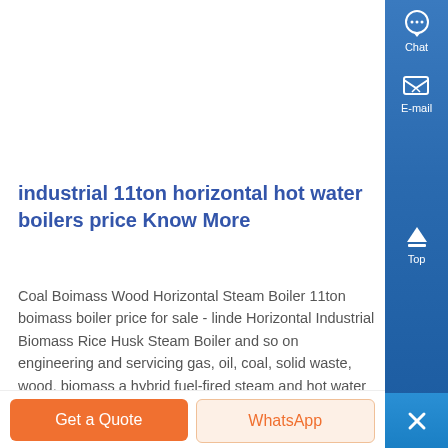[Figure (photo): Two product/industrial images side by side at top of page — left image shows a dark industrial object, right image shows a mechanical component on white background]
industrial 11ton horizontal hot water boilers price Know More
Coal Boimass Wood Horizontal Steam Boiler 11ton boimass boiler price for sale - linde Horizontal Industrial Biomass Rice Husk Steam Boiler and so on engineering and servicing gas, oil, coal, solid waste, wood, biomass and hybrid fuel-fired steam and hot water boilers since 1967, thousands of satisfied customersIn addition to a comple line of steam and hot ,...
[Figure (screenshot): Right sidebar with Chat, E-mail, Top, and close (X) icons on blue gradient background]
Get a Quote
WhatsApp